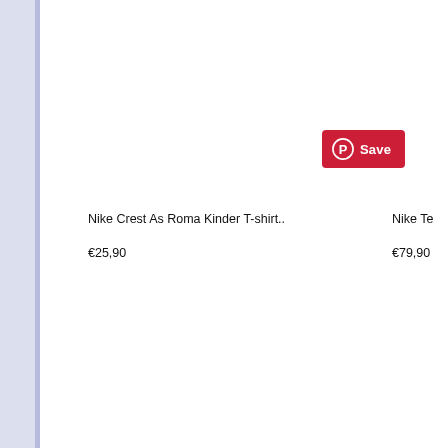[Figure (screenshot): Pinterest Save button (red pill with Pinterest logo and 'Save' text)]
Nike Crest As Roma Kinder T-shirt..
€25,90
Nike Te
€79,90